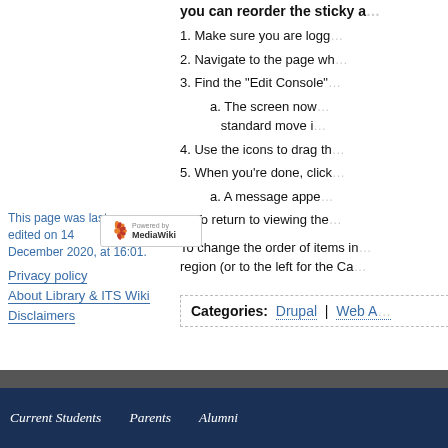you can reorder the sticky a...
1. Make sure you are logg...
2. Navigate to the page wh...
3. Find the "Edit Console"...
a. The screen now... standard move i...
4. Use the icons to drag th...
5. When you're done, click...
a. A message appe...
6. To return to viewing the...
To change the order of items in... region (or to the left for the Ca...
This page was last edited on 14 December 2020, at 16:01.
[Figure (logo): Powered by MediaWiki badge with flower logo]
Privacy policy
About Library & ITS Wiki
Disclaimers
| Categories: | Drupal | Web A... |
| --- | --- | --- |
Current Students   Parents   Alumni